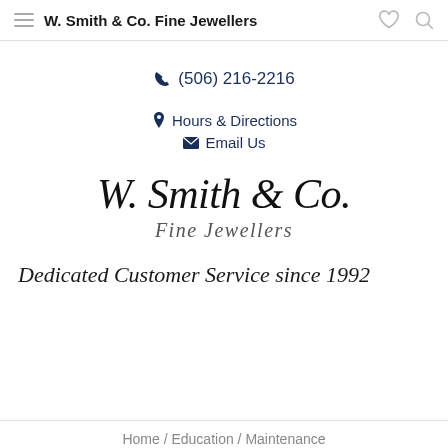W. Smith & Co. Fine Jewellers
(506) 216-2216
Hours & Directions
Email Us
[Figure (logo): W. Smith & Co. Fine Jewellers logo in script/italic font]
Dedicated Customer Service since 1992
Home / Education / Maintenance